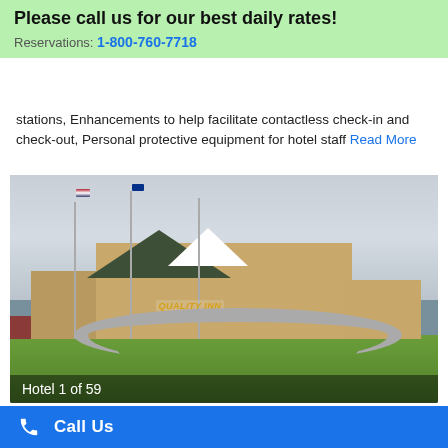Please call us for our best daily rates!
Reservations: 1-800-760-7718
stations, Enhancements to help facilitate contactless check-in and check-out, Personal protective equipment for hotel staff Read More
[Figure (photo): Exterior photo of a Quality Inn hotel with three flag poles, brick facade, green lawn, and red mulch flower beds. Caption reads: Hotel 1 of 59]
Hotel 1 of 59
Call Us